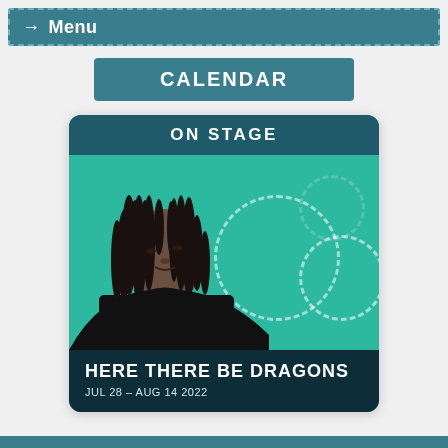→ Menu
CALENDAR
[Figure (screenshot): Event card with header 'ON STAGE', a photo of a woman with dreadlocks against a teal background with dashed circle decorations, and footer text 'HERE THERE BE DRAGONS — JUL 28 – AUG 14 2022']
HERE THERE BE DRAGONS
JUL 28 – AUG 14 2022